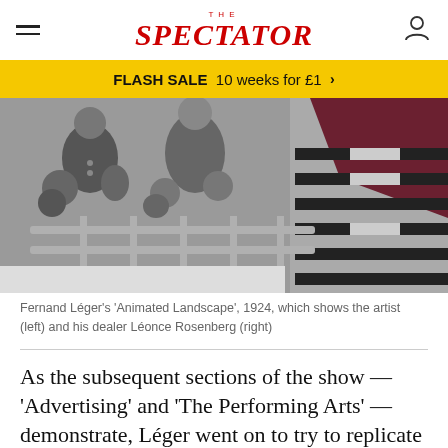THE SPECTATOR
FLASH SALE  10 weeks for £1  >
[Figure (photo): Fernand Léger's 'Animated Landscape', 1924, a painting showing two robotic-style figures at a railing with geometric striped and geometric background elements in grey, maroon, and black.]
Fernand Léger's 'Animated Landscape', 1924, which shows the artist (left) and his dealer Léonce Rosenberg (right)
As the subsequent sections of the show — 'Advertising' and 'The Performing Arts' — demonstrate, Léger went on to try to replicate and extend, in posters, on film and in his designs for